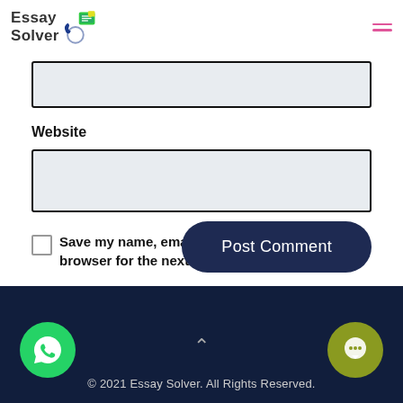Essay Solver
Website
Save my name, email, and website in this browser for the next time I comment.
Post Comment
© 2021 Essay Solver. All Rights Reserved.